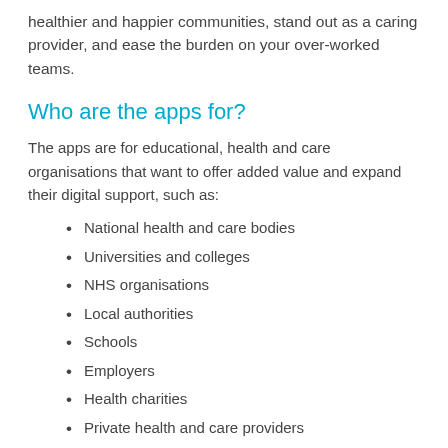healthier and happier communities, stand out as a caring provider, and ease the burden on your over-worked teams.
Who are the apps for?
The apps are for educational, health and care organisations that want to offer added value and expand their digital support, such as:
National health and care bodies
Universities and colleges
NHS organisations
Local authorities
Schools
Employers
Health charities
Private health and care providers
Student accommodation providers
Can I customise apps?